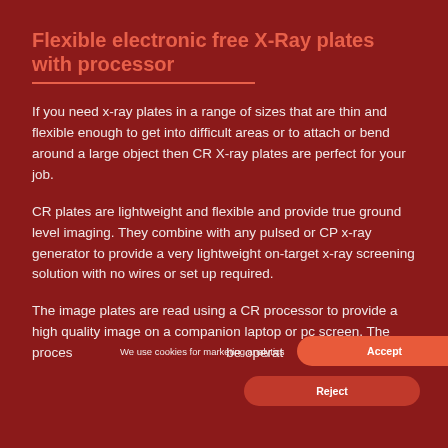Flexible electronic free X-Ray plates with processor
If you need x-ray plates in a range of sizes that are thin and flexible enough to get into difficult areas or to attach or bend around a large object then CR X-ray plates are perfect for your job.
CR plates are lightweight and flexible and provide true ground level imaging. They combine with any pulsed or CP x-ray generator to provide a very lightweight on-target x-ray screening solution with no wires or set up required.
The image plates are read using a CR processor to provide a high quality image on a companion laptop or pc screen. The proces[sor can ]be operat[ed...]
We use cookies for marketing analytics
Accept
Reject